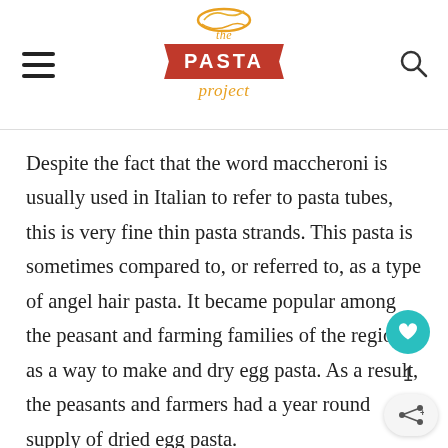the PASTA project
Despite the fact that the word maccheroni is usually used in Italian to refer to pasta tubes, this is very fine thin pasta strands. This pasta is sometimes compared to, or referred to, as a type of angel hair pasta. It became popular among the peasant and farming families of the region as a way to make and dry egg pasta. As a result, the peasants and farmers had a year round supply of dried egg pasta.